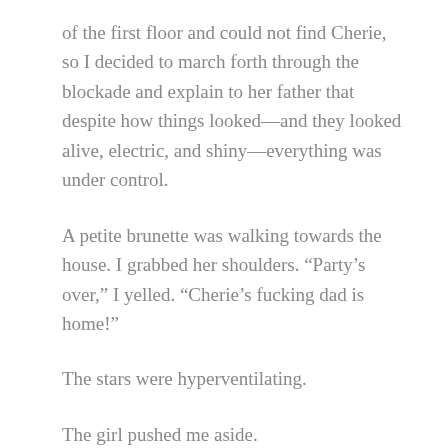of the first floor and could not find Cherie, so I decided to march forth through the blockade and explain to her father that despite how things looked—and they looked alive, electric, and shiny—everything was under control.
A petite brunette was walking towards the house. I grabbed her shoulders. “Party’s over,” I yelled. “Cherie’s fucking dad is home!”
The stars were hyperventilating.
The girl pushed me aside.